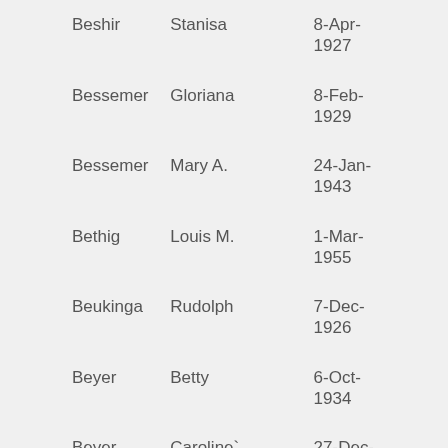| Last Name | First Name | Date |
| --- | --- | --- |
| Beshir | Stanisa | 8-Apr-1927 |
| Bessemer | Gloriana | 8-Feb-1929 |
| Bessemer | Mary A. | 24-Jan-1943 |
| Bethig | Louis M. | 1-Mar-1955 |
| Beukinga | Rudolph | 7-Dec-1926 |
| Beyer | Betty | 6-Oct-1934 |
| Beyer | Caroline` | 27-Dec-1928 |
| Beyer | Minnie | 7-Sep-1930 |